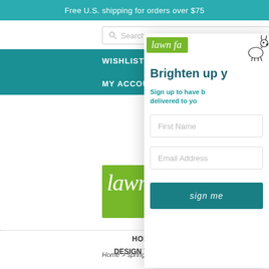Free U.S. shipping for orders over $75
Search...
WISHLIST
MY ACCOUNT
[Figure (logo): Lawn Fawn logo with deer illustration on green banner]
HOME  SHOP v  A  DESIGN TEAM  WHOLE
Home > spring 2018 -wholesale
border
[Figure (screenshot): Email signup modal overlay with Lawn Fawn logo, heading 'Brighten up y', subtext 'Sign up to have b delivered to yo', First Name field, Email Address field, and 'sign me' button]